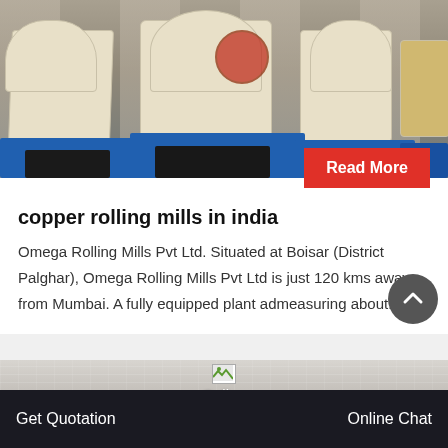[Figure (photo): Industrial copper rolling mill machinery — cream/beige colored machines with mesh guards on blue metal bases, arranged in a row in a factory setting]
Read More
copper rolling mills in india
Omega Rolling Mills Pvt Ltd. Situated at Boisar (District Palghar), Omega Rolling Mills Pvt Ltd is just 120 kms away from Mumbai. A fully equipped plant admeasuring about...
[Figure (photo): Partially visible second image of a building/facility with a broken image icon placeholder in the center and 'Online' text overlay]
Get Quotation   Online   Online Chat